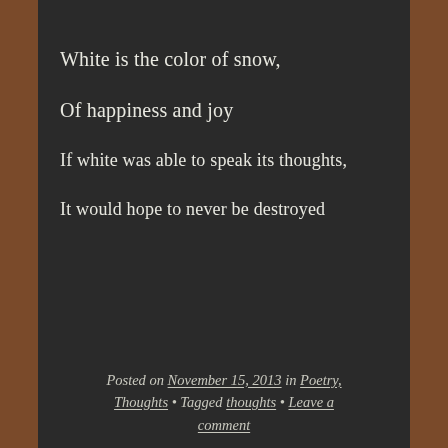White is the color of snow,
Of happiness and joy
If white was able to speak its thoughts,
It would hope to never be destroyed
Posted on November 15, 2013 in Poetry, Thoughts • Tagged thoughts • Leave a comment